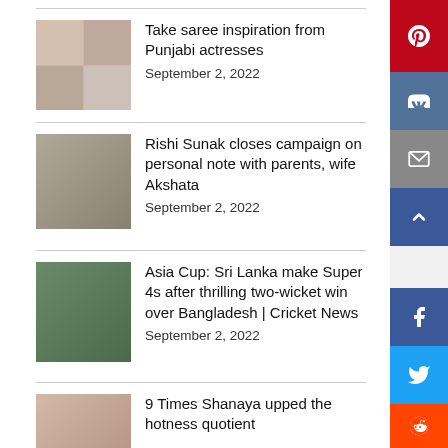Take saree inspiration from Punjabi actresses
September 2, 2022
Rishi Sunak closes campaign on personal note with parents, wife Akshata
September 2, 2022
Asia Cup: Sri Lanka make Super 4s after thrilling two-wicket win over Bangladesh | Cricket News
September 2, 2022
9 Times Shanaya upped the hotness quotient